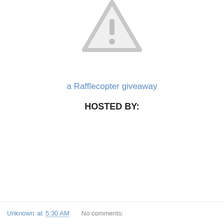[Figure (illustration): Gray warning triangle icon with exclamation mark, partially cropped at top of page]
a Rafflecopter giveaway
HOSTED BY:
Unknown at 5:30 AM    No comments: